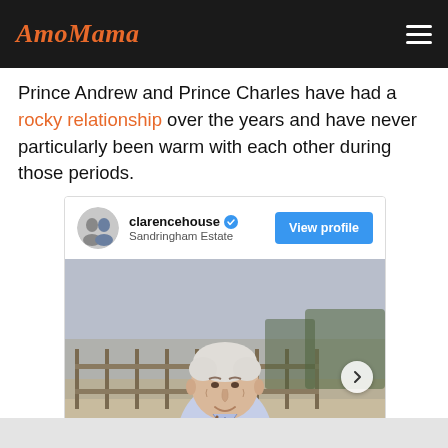AmoMama
Prince Andrew and Prince Charles have had a rocky relationship over the years and have never particularly been warm with each other during those periods.
[Figure (screenshot): Instagram embed from clarencehouse at Sandringham Estate with a View profile button and a photo of an elderly man in a light blue shirt outdoors near farm fencing]